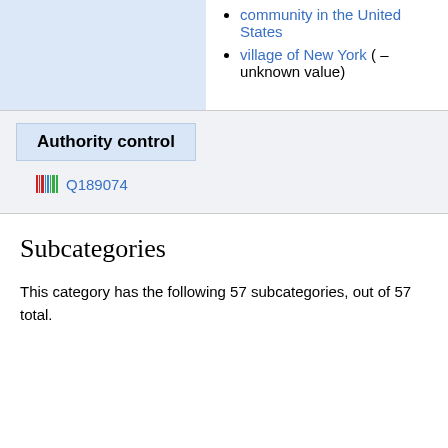community in the United States
village of New York ( – unknown value)
Authority control
Q189074
Subcategories
This category has the following 57 subcategories, out of 57 total.